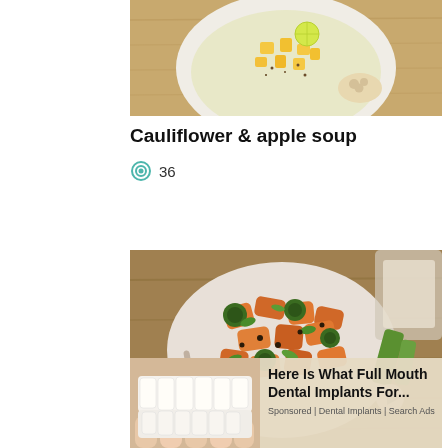[Figure (photo): Top-down view of cauliflower and apple soup in a white bowl with mango chunks, lime, and spices on a wooden surface]
Cauliflower & apple soup
👁 36
[Figure (photo): Top-down view of a roasted vegetable salad with sweet potato, brussels sprouts, and herbs in a white bowl with spoons on a wooden table]
[Figure (photo): Advertisement overlay showing dental implants teeth image on left and text 'Here Is What Full Mouth Dental Implants For...' with 'Sponsored | Dental Implants | Search Ads']